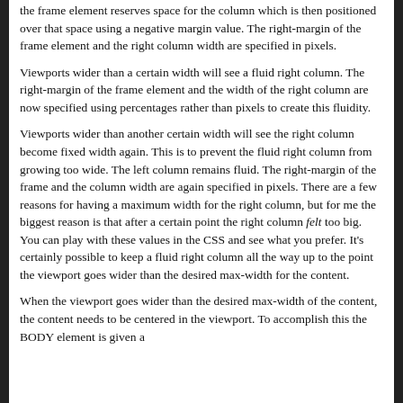the frame element reserves space for the column which is then positioned over that space using a negative margin value. The right-margin of the frame element and the right column width are specified in pixels.
Viewports wider than a certain width will see a fluid right column. The right-margin of the frame element and the width of the right column are now specified using percentages rather than pixels to create this fluidity.
Viewports wider than another certain width will see the right column become fixed width again. This is to prevent the fluid right column from growing too wide. The left column remains fluid. The right-margin of the frame and the column width are again specified in pixels. There are a few reasons for having a maximum width for the right column, but for me the biggest reason is that after a certain point the right column felt too big. You can play with these values in the CSS and see what you prefer. It's certainly possible to keep a fluid right column all the way up to the point the viewport goes wider than the desired max-width for the content.
When the viewport goes wider than the desired max-width of the content, the content needs to be centered in the viewport. To accomplish this the BODY element is given a